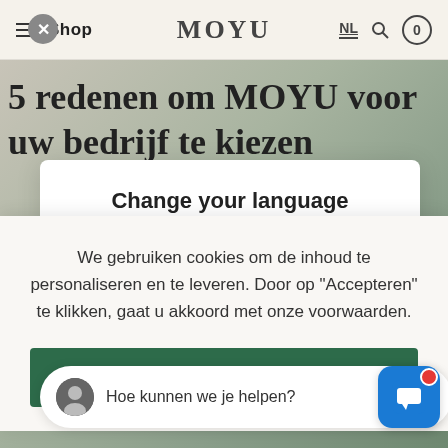Shop | MOYU | NL | 0
5 redenen om MOYU voor uw bedrijf te kiezen
Change your language
We gebruiken cookies om de inhoud te personaliseren en te leveren. Door op "Accepteren" te klikken, gaat u akkoord met onze voorwaarden.
Accepteer
Hoe kunnen we je helpen?